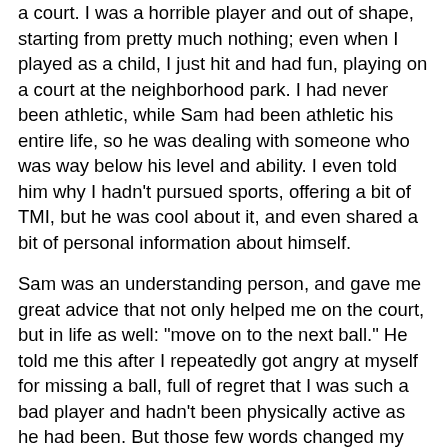a court. I was a horrible player and out of shape, starting from pretty much nothing; even when I played as a child, I just hit and had fun, playing on a court at the neighborhood park. I had never been athletic, while Sam had been athletic his entire life, so he was dealing with someone who was way below his level and ability. I even told him why I hadn't pursued sports, offering a bit of TMI, but he was cool about it, and even shared a bit of personal information about himself.
Sam was an understanding person, and gave me great advice that not only helped me on the court, but in life as well: "move on to the next ball." He told me this after I repeatedly got angry at myself for missing a ball, full of regret that I was such a bad player and hadn't been physically active as he had been. But those few words changed my game. Since he told me that, if I missed a ball, I'd tell myself to move on to the next one; forget about the mistake I made and focus on the moment, what's coming up, and do my best.
Then I carried that over into my life. If something bad happens or I am disappointed, I tell myself to move on to the